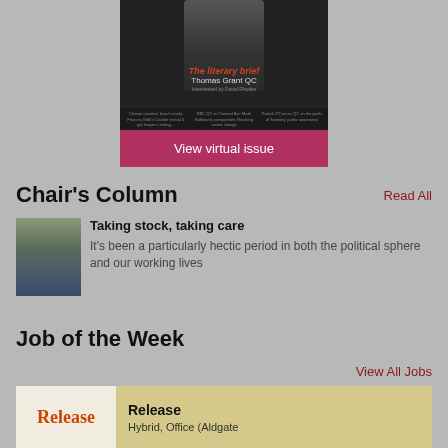[Figure (illustration): Magazine cover for 'The literary brief' by Thomas Grant QC, showing a man in a dark suit, with teasers for articles below. Below the cover is a crimson 'View virtual issue' button.]
View virtual issue
Chair's Column
Read All
[Figure (photo): Headshot photo of a man in a suit outdoors]
Taking stock, taking care
It's been a particularly hectic period in both the political sphere and our working lives
Job of the Week
View All Jobs
[Figure (logo): Release company logo in orange/red text]
Release
Hybrid, Office (Aldgate